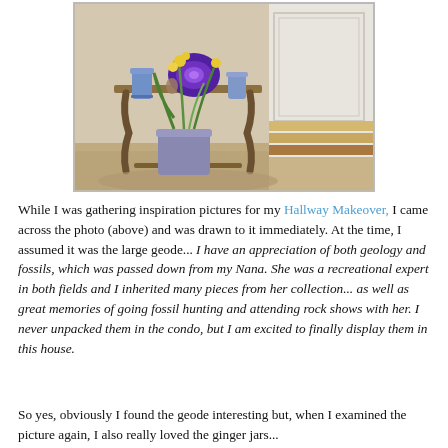[Figure (photo): A hallway console table with ornate iron legs topped with a large amethyst geode, blue ceramic jars, and a potted yellow flowering plant. White wainscoting panel wall and area rug visible in background.]
While I was gathering inspiration pictures for my Hallway Makeover,  I came across the photo (above) and was drawn to it immediately.  At the time, I assumed it was the large geode...  I have an appreciation of both geology and fossils, which was passed down from my Nana.  She was a recreational expert in both fields and I inherited many pieces from her collection... as well as great memories of going fossil hunting and attending rock shows with her.  I never unpacked them in the condo, but I am excited to finally display them in this house.
So yes, obviously I found the geode interesting but, when I examined the picture again, I also really loved the ginger jars...